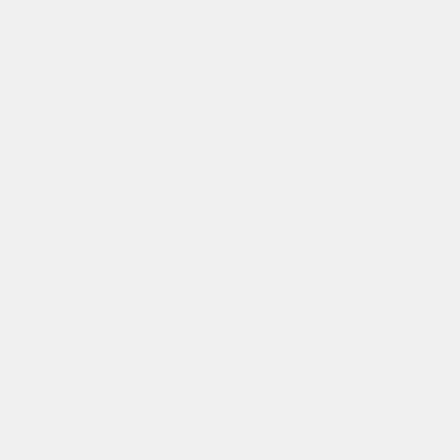Everyone from Sherry Fing Frost to put their foot in their mouth oppo groomers and pedos to wait until ki before trying to sexualize them. blockers and genital mutilation sur public health.
Says the pedos and groomers.
While that mess brewed, Elon Mu Twitter. Then a week later offered t The Left’s primal scream still ech media and the digital multiverse.
Elon has made it clear that his Twit people. It would stop the auto-fla linking of Dem propagandists doi checkers to other people’s content.
In other words, the problem of fr solved by more free speech.
The Democrats hate it.
Under no circumstances should a